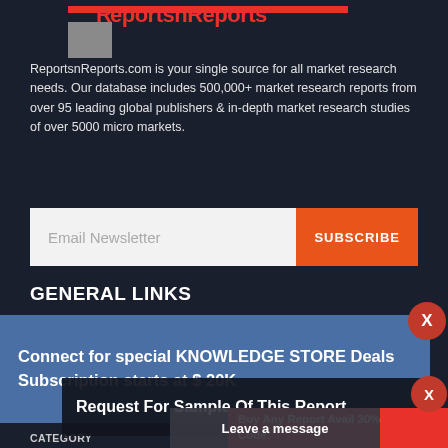[Figure (logo): ReportsnReports.com website logo with red bar and gray square icon]
ReportsnReports.com is your single source for all market research needs. Our database includes 500,000+ market research reports from over 95 leading global publishers & in-depth market research studies of over 5000 micro markets.
Email Newsletter
SUBSCRIBE
GENERAL LINKS
Connect for special KNOWLEDGE STORE Deals Subscription starts at $ 20K
CATEGORY
PRESS RELEASES
COUNTRY
PUBLISHER
UPCOMING REPORTS
DISCOUNTED REPORTS
Request For Sample Of This Report
Buy Any Report Avail 30% Code:
Leave a message